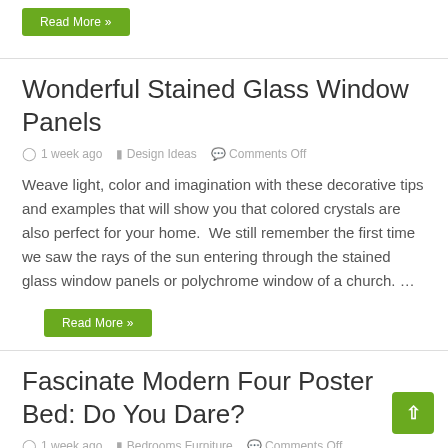Read More »
Wonderful Stained Glass Window Panels
1 week ago   Design Ideas   Comments Off
Weave light, color and imagination with these decorative tips and examples that will show you that colored crystals are also perfect for your home.  We still remember the first time we saw the rays of the sun entering through the stained glass window panels or polychrome window of a church. …
Read More »
Fascinate Modern Four Poster Bed: Do You Dare?
1 week ago   Bedrooms Furniture   Comments Off
Who has not dreamed of sleeping in an impressive modern four